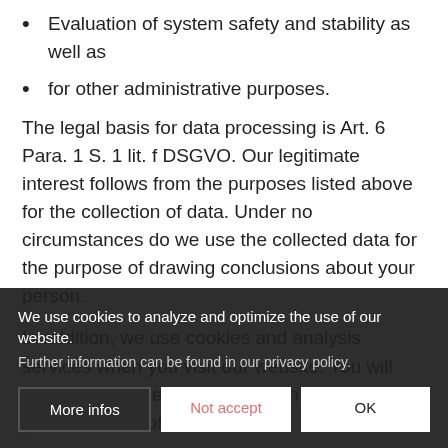Evaluation of system safety and stability as well as
for other administrative purposes.
The legal basis for data processing is Art. 6 Para. 1 S. 1 lit. f DSGVO. Our legitimate interest follows from the purposes listed above for the collection of data. Under no circumstances do we use the collected data for the purpose of drawing conclusions about your person.
In addition, we use cookies and analysis services when you visit our website. You will find more detailed information on this under points 4 and 5 of this data
3. Disclosure of data
Your personal data w...
We use cookies to analyze and optimize the use of our website.
Further information can be found in our privacy policy.